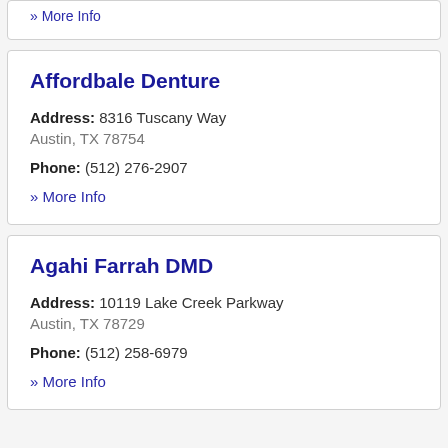» More Info
Affordbale Denture
Address: 8316 Tuscany Way
Austin, TX 78754
Phone: (512) 276-2907
» More Info
Agahi Farrah DMD
Address: 10119 Lake Creek Parkway
Austin, TX 78729
Phone: (512) 258-6979
» More Info